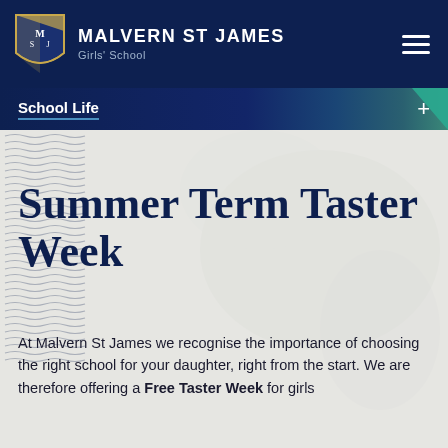MALVERN ST JAMES Girls' School
School Life +
Summer Term Taster Week
At Malvern St James we recognise the importance of choosing the right school for your daughter, right from the start. We are therefore offering a Free Taster Week for girls and...